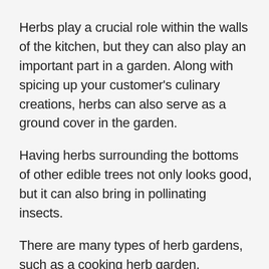Herbs play a crucial role within the walls of the kitchen, but they can also play an important part in a garden. Along with spicing up your customer's culinary creations, herbs can also serve as a ground cover in the garden.
Having herbs surrounding the bottoms of other edible trees not only looks good, but it can also bring in pollinating insects.
There are many types of herb gardens, such as a cooking herb garden, medicinal, ornamental, knot, colonial, fragrant and windowsill to give a few examples. This gives your customers multiple options when choosing which type best fits their lifestyle and needs.